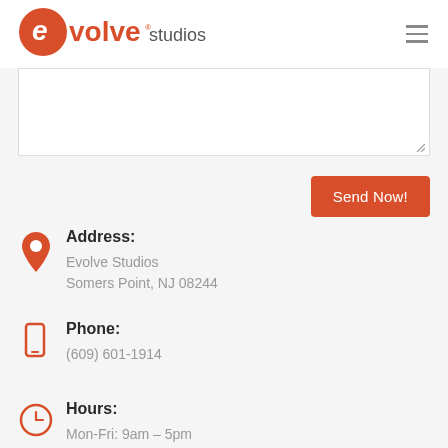[Figure (logo): Evolve Studios logo — red circular 'e' icon with 'evolve studios' wordmark]
[Figure (other): Hamburger menu icon (three horizontal lines)]
[Figure (other): Text input area (form textarea with resize handle)]
Send Now!
Address:
Evolve Studios
Somers Point, NJ 08244
Phone:
(609) 601-1914
Hours:
Mon-Fri: 9am – 5pm